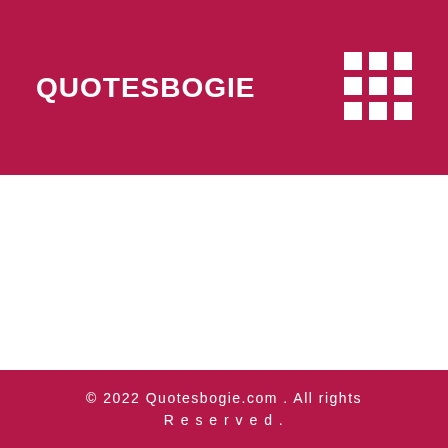QUOTESBOGIE
[Figure (logo): 3x3 grid of white squares logo icon in top-right of header]
© 2022 Quotesbogie.com . All rights Reserved.